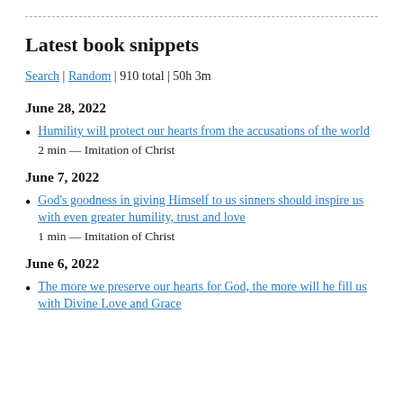Latest book snippets
Search | Random | 910 total | 50h 3m
June 28, 2022
Humility will protect our hearts from the accusations of the world
2 min — Imitation of Christ
June 7, 2022
God's goodness in giving Himself to us sinners should inspire us with even greater humility, trust and love
1 min — Imitation of Christ
June 6, 2022
The more we preserve our hearts for God, the more will he fill us with Divine Love and Grace